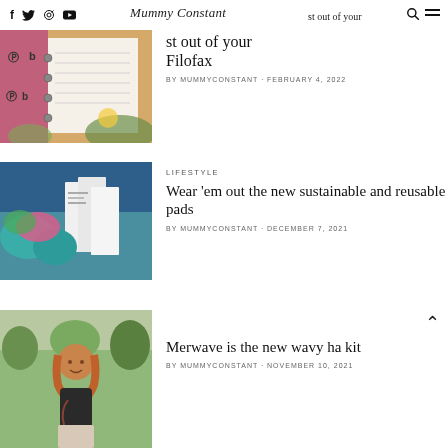Social icons: f, Twitter, Instagram, YouTube | Mummy Constant | Search | Menu
[Figure (photo): Open planner/Filofax with decorative pages, pink binder]
st out of your Filofax
BY MUMMYCONSTANT · FEBRUARY 4, 2022
[Figure (photo): Sustainable reusable pads products laid out with teal fabric pouches and white packaging]
LIFESTYLE
Wear 'em out the new sustainable and reusable pads
BY MUMMYCONSTANT · DECEMBER 7, 2021
[Figure (photo): Young girl with long wavy hair standing outdoors in nature, wearing a dark top]
Merwave is the new wavy ha kit
BY MUMMYCONSTANT · NOVEMBER 10, 2021